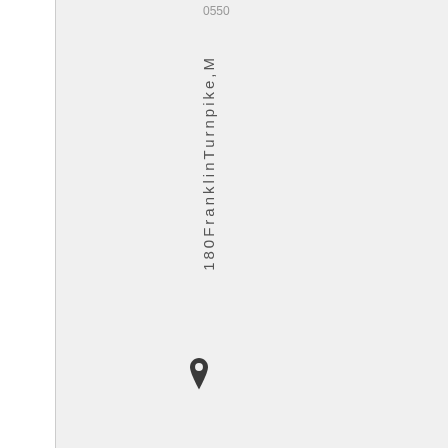0550
180 Franklin Turnpike, M
[Figure (illustration): Map location pin / marker icon]